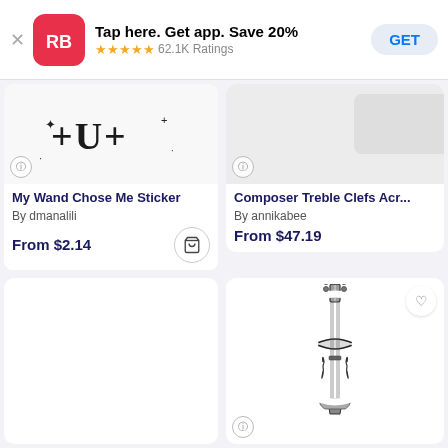[Figure (screenshot): App banner for Redbubble: logo (RB red icon), text 'Tap here. Get app. Save 20%', 5 gold stars, '62.1K Ratings', and a 'GET' button]
My Wand Chose Me Sticker
By dmanalili
From $2.14
Composer Treble Clefs Acr...
By annikabee
From $47.19
[Figure (illustration): Sticker of a bumblebee holding something red, illustrated in detailed style with yellow and black coloring and wings]
[Figure (illustration): Sticker of a violin or cello, black and white line illustration]